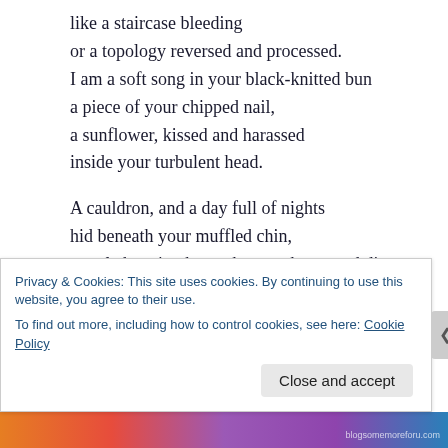like a staircase bleeding
or a topology reversed and processed.
I am a soft song in your black-knitted bun
a piece of your chipped nail,
a sunflower, kissed and harassed
inside your turbulent head.

A cauldron, and a day full of nights
hid beneath your muffled chin,
a mole hanging beneath your shouts and dim- dreams.
Mother, you are a pool of madness
and a point blank.
Privacy & Cookies: This site uses cookies. By continuing to use this website, you agree to their use.
To find out more, including how to control cookies, see here: Cookie Policy